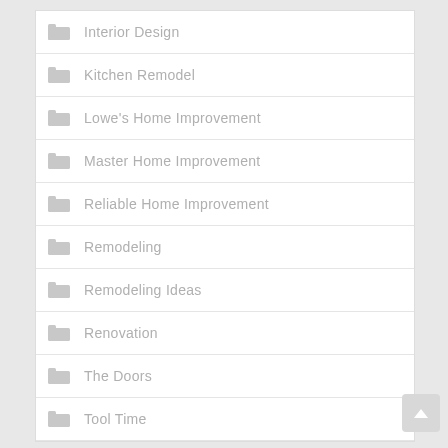Interior Design
Kitchen Remodel
Lowe's Home Improvement
Master Home Improvement
Reliable Home Improvement
Remodeling
Remodeling Ideas
Renovation
The Doors
Tool Time